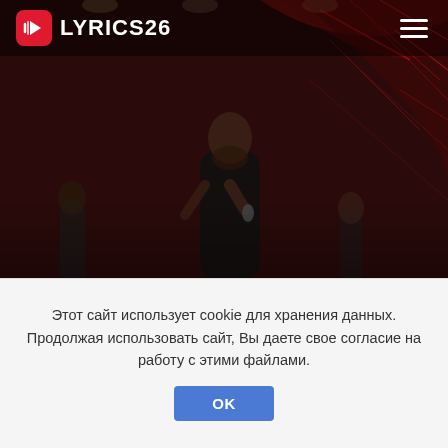LYRICS26
[Figure (photo): Concert photo of a male singer performing on stage, holding a microphone, with band members and a red abstract background. Text overlays show artist name 'Maroon 5', song title 'I Can't Lie', and album 'in Hands All Over'.]
Maroon 5 — I Can't Lie — in Hands All Over
Текст песни "I Can't Lie"
Этот сайт использует cookie для хранения данных. Продолжая использовать сайт, Вы даете свое согласие на работу с этими файлами.